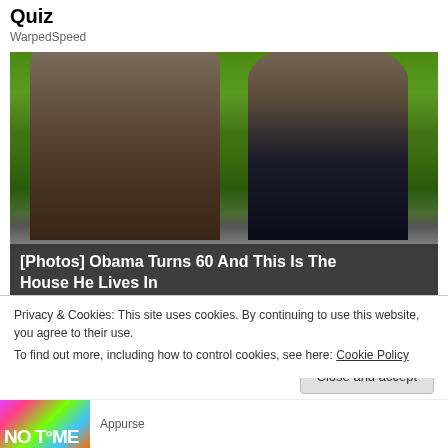Quiz
WarpedSpeed
[Figure (photo): Photo of two people (man with dark sunglasses and woman with heart-shaped sunglasses) outdoors with green vegetation in background. Overlay text: [Photos] Obama Turns 60 And This Is The House He Lives In]
Privacy & Cookies: This site uses cookies. By continuing to use this website, you agree to their use.
To find out more, including how to control cookies, see here: Cookie Policy
Close and accept
Appurse